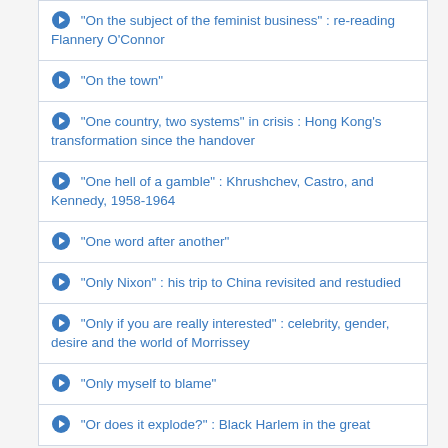"On the subject of the feminist business" : re-reading Flannery O'Connor
"On the town"
"One country, two systems" in crisis : Hong Kong's transformation since the handover
"One hell of a gamble" : Khrushchev, Castro, and Kennedy, 1958-1964
"One word after another"
"Only Nixon" : his trip to China revisited and restudied
"Only if you are really interested" : celebrity, gender, desire and the world of Morrissey
"Only myself to blame"
"Or does it explode?" : Black Harlem in the great